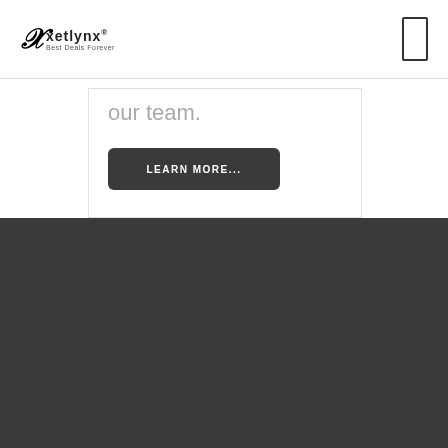[Figure (logo): Xetlynx logo with stylized X and tagline 'Best Deals Forever' in black]
our team.
LEARN MORE...
[Figure (logo): Xetlynx logo with stylized X and tagline 'Best Deals Forever' in white on dark background]
One Of The India's Leading Business Group